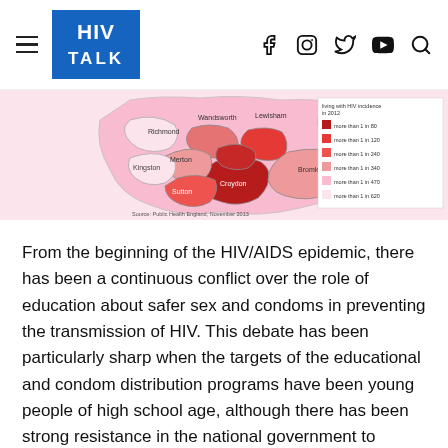HIV TALK
[Figure (map): Choropleth map of London boroughs showing HIV prevalence (living with HIV incidence in 2012). Legend shows shading from dark red (more than 1 in 80) to very light pink (more than 1 in 620). Areas labeled include Richmond, Wandsworth, Lewisham, Bexley, Merton, Kingston, Sutton, Croydon, Bromley. Source: Public Health England, November 2013.]
From the beginning of the HIV/AIDS epidemic, there has been a continuous conflict over the role of education about safer sex and condoms in preventing the transmission of HIV. This debate has been particularly sharp when the targets of the educational and condom distribution programs have been young people of high school age, although there has been strong resistance in the national government to condom education for persons of all ages .
The proponents of safer sex education and condom